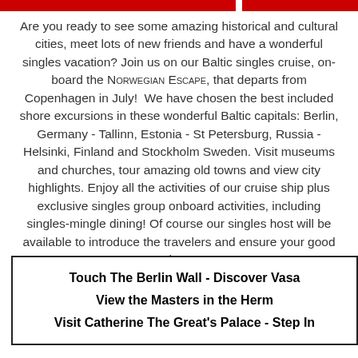Are you ready to see some amazing historical and cultural cities, meet lots of new friends and have a wonderful singles vacation? Join us on our Baltic singles cruise, on-board the Norwegian Escape, that departs from Copenhagen in July!  We have chosen the best included shore excursions in these wonderful Baltic capitals: Berlin, Germany - Tallinn, Estonia - St Petersburg, Russia - Helsinki, Finland and Stockholm Sweden. Visit museums and churches, tour amazing old towns and view city highlights. Enjoy all the activities of our cruise ship plus exclusive singles group onboard activities, including singles-mingle dining! Of course our singles host will be available to introduce the travelers and ensure your good time.
Touch The Berlin Wall - Discover Vasa
View the Masters in the Herm
Visit Catherine The Great's Palace - Step In